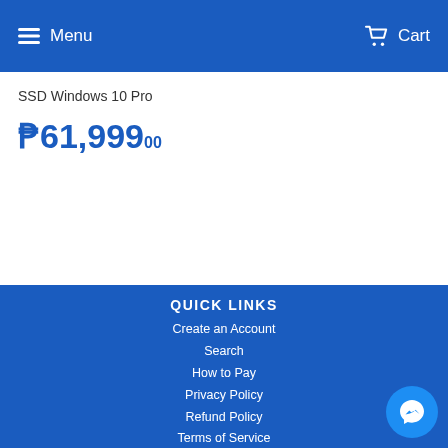Menu  Cart
SSD Windows 10 Pro
₱61,999.00
QUICK LINKS
Create an Account
Search
How to Pay
Privacy Policy
Refund Policy
Terms of Service